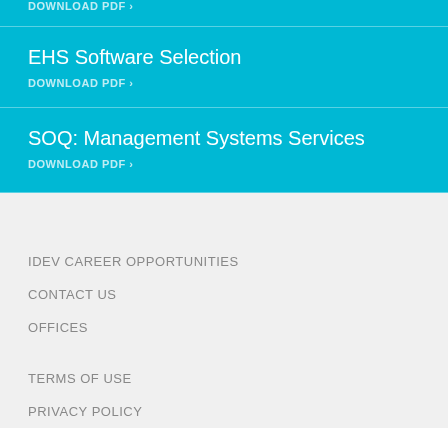DOWNLOAD PDF ›
EHS Software Selection
DOWNLOAD PDF ›
SOQ: Management Systems Services
DOWNLOAD PDF ›
IDEV CAREER OPPORTUNITIES
CONTACT US
OFFICES
TERMS OF USE
PRIVACY POLICY